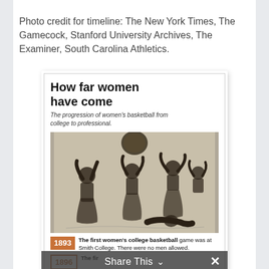Photo credit for timeline: The New York Times, The Gamecock, Stanford University Archives, The Examiner, South Carolina Athletics.
[Figure (infographic): Infographic titled 'How far women have come' with subtitle 'The progression of women's basketball from college to professional.' Contains a black-and-white historical illustration of women playing basketball, followed by a timeline. 1893: The first women's college basketball game was at Smith College. There were no men allowed. 1896: [partially visible]]